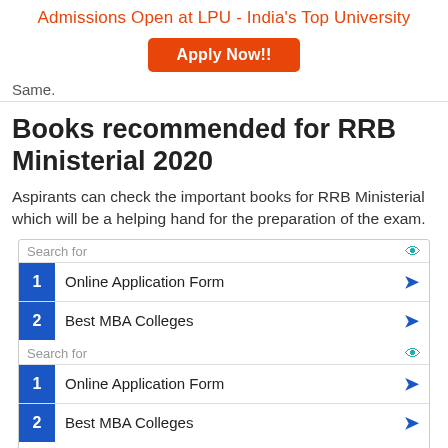Admissions Open at LPU - India's Top University
Apply Now!!
Same.
Books recommended for RRB Ministerial 2020
Aspirants can check the important books for RRB Ministerial which will be a helping hand for the preparation of the exam.
Search for
1 Online Application Form >
2 Best MBA Colleges >
Search for
1 Online Application Form >
2 Best MBA Colleges >